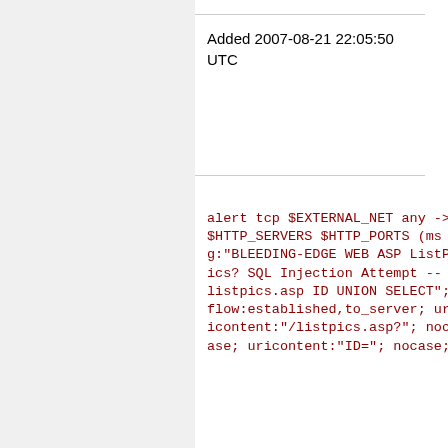Added 2007-08-21 22:05:50 UTC
alert tcp $EXTERNAL_NET any -> $HTTP_SERVERS $HTTP_PORTS (msg:"BLEEDING-EDGE WEB ASP ListPics? SQL Injection Attempt -- listpics.asp ID UNION SELECT"; flow:established,to_server; uricontent:"/listpics.asp?"; nocase; uricontent:"ID="; nocase;